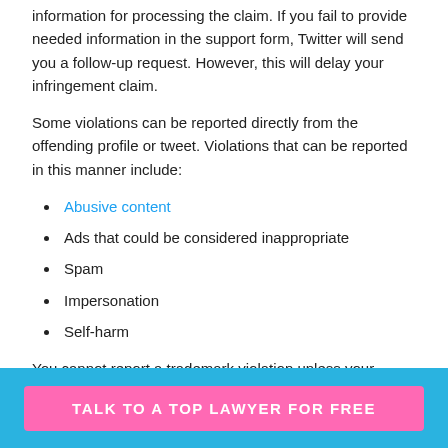information for processing the claim. If you fail to provide needed information in the support form, Twitter will send you a follow-up request. However, this will delay your infringement claim.
Some violations can be reported directly from the offending profile or tweet. Violations that can be reported in this manner include:
Abusive content
Ads that could be considered inappropriate
Spam
Impersonation
Self-harm
You cannot report a trademark violation unless your
TALK TO A TOP LAWYER FOR FREE